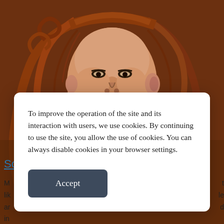[Figure (illustration): A decorative painting/artwork showing a woman's face with flowing reddish-brown curly hair, rendered in a classical artistic style with warm earth tones of orange, brown and beige. The face has dramatic dark eyes, strong features, and detailed hair with spiral curls.]
To improve the operation of the site and its interaction with users, we use cookies. By continuing to use the site, you allow the use of cookies. You can always disable cookies in your browser settings.
Accept